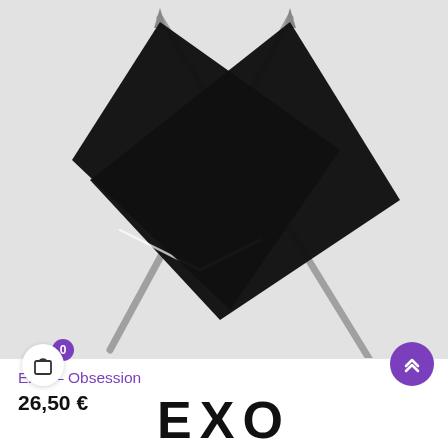[Figure (photo): Two crossed black flags on metallic poles forming an X shape, against a light gray background. The EXO Obsession album cover art.]
EXO – Obsession
26,50 €
0
[Figure (illustration): Shopping cart icon (white circle with bag outline)]
[Figure (illustration): Scroll-to-top button (purple circle with double chevron up arrows)]
EXO